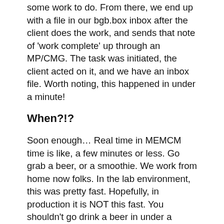some work to do. From there, we end up with a file in our bgb.box inbox after the client does the work, and sends that note of 'work complete' up through an MP/CMG. The task was initiated, the client acted on it, and we have an inbox file. Worth noting, this happened in under a minute!
When?!?
Soon enough… Real time in MEMCM time is like, a few minutes or less. Go grab a beer, or a smoothie. We work from home now folks. In the lab environment, this was pretty fast. Hopefully, in production it is NOT this fast. You shouldn't go drink a beer in under a minute.
Where?!?
Resource Explorer! It has an entire new section, labeled 'Diagnostic Files.'
Resource Explorer, the client kicks...